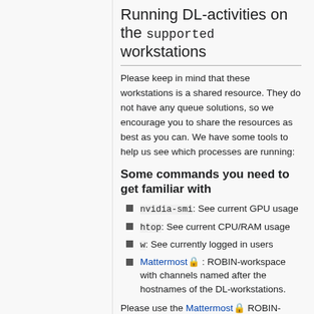Running DL-activities on the supported workstations
Please keep in mind that these workstations is a shared resource. They do not have any queue solutions, so we encourage you to share the resources as best as you can. We have some tools to help us see which processes are running:
Some commands you need to get familiar with
nvidia-smi: See current GPU usage
htop: See current CPU/RAM usage
w: See currently logged in users
Mattermost 🔒 : ROBIN-workspace with channels named after the hostnames of the DL-workstations.
Please use the Mattermost 🔒 ROBIN-workspace to coordinate resource usage.
Before running DL-activities
Make sure you are on one of the